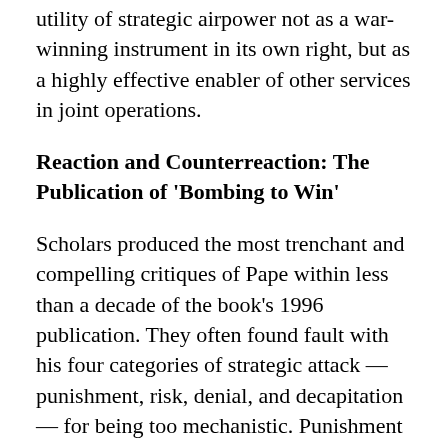utility of strategic airpower not as a war-winning instrument in its own right, but as a highly effective enabler of other services in joint operations.
Reaction and Counterreaction: The Publication of 'Bombing to Win'
Scholars produced the most trenchant and compelling critiques of Pape within less than a decade of the book's 1996 publication. They often found fault with his four categories of strategic attack — punishment, risk, denial, and decapitation — for being too mechanistic. Punishment targets civilians to convince their